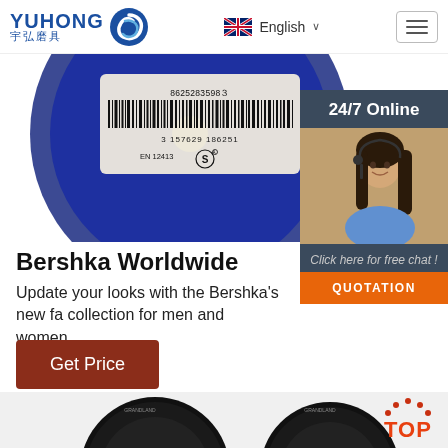[Figure (logo): Yuhong brand logo with blue wave icon and Chinese text 宇弘磨具]
English ∨
[Figure (photo): Close-up of a blue grinding/cutting disc with barcode 8625283598３, number 3157629186251, and EN 12413 certification label]
[Figure (photo): 24/7 Online chat widget with photo of female customer service agent wearing headset, text: Click here for free chat! QUOTATION button]
Bershka Worldwide
Update your looks with the Bershka's new fa collection for men and women
Get Price
[Figure (photo): Bottom section showing two abrasive cutting discs (Grandland brand) and a TOP badge icon in orange/red]
[Figure (logo): TOP badge with orange text and dots]